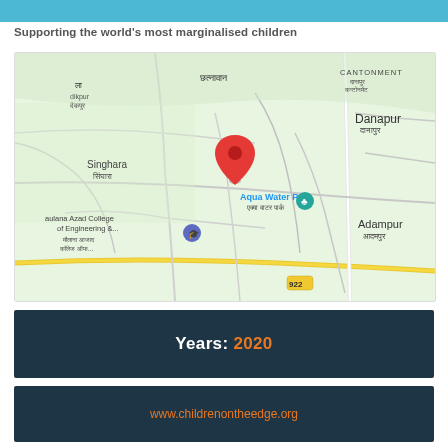Supporting the world's most marginalised children
[Figure (map): Google Maps view showing area near Danapur, Bihar, India. Shows locations including CANTONMENT, Danapur (दानापुर), Singhara (सिंघारा), Aqua Water Park (एक्वा वाटर पार्क), Adampur (आदमपुर), Maulana Azad College of Engineering & (मौलाना आजाद कॉलेज ऑफ...), छत्नावान, देकपुर. Road 922 visible. Red location pin marker in center of map.]
Years: 2020
www.childrenontheedge.org